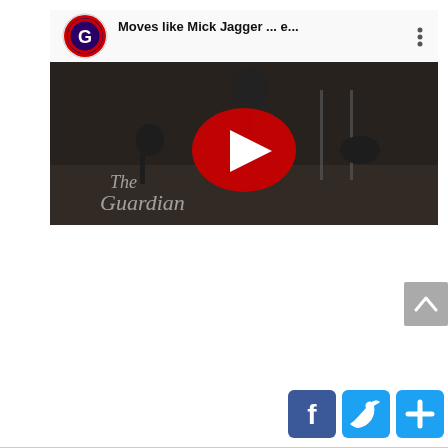[Figure (screenshot): YouTube video thumbnail for 'Moves like Mick Jagger... e...' from The Guardian channel. Shows a dark video frame with people in a dance studio, The Guardian watermark in lower left, and a YouTube play button in the center. Channel icon with a red/blue G logo is in the top left of the player bar.]
[Figure (other): A gray 'scroll to top' button with an upward chevron arrow on the right side of the page.]
[Figure (other): Social sharing buttons row at bottom right: blue Facebook button with 'f' icon, blue Twitter button with bird icon, blue plus/share button.]